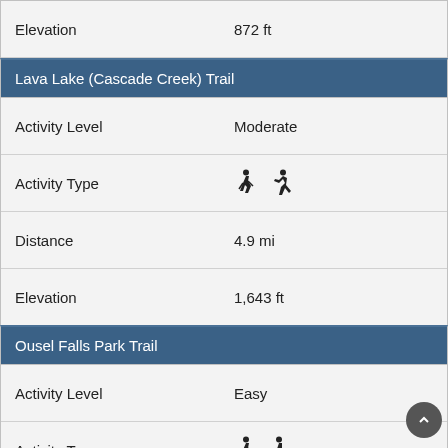| Field | Value |
| --- | --- |
| Elevation | 872 ft |
Lava Lake (Cascade Creek) Trail
| Field | Value |
| --- | --- |
| Activity Level | Moderate |
| Activity Type | [hiker icon] [trail runner icon] |
| Distance | 4.9 mi |
| Elevation | 1,643 ft |
Ousel Falls Park Trail
| Field | Value |
| --- | --- |
| Activity Level | Easy |
| Activity Type | [hiker icon] [walker icon] |
| Distance | 1.6 mi |
| Elevation | 469 ft |
St. Mary and Virginia Falls Trail
| Field | Value |
| --- | --- |
| Activity Level | Easy |